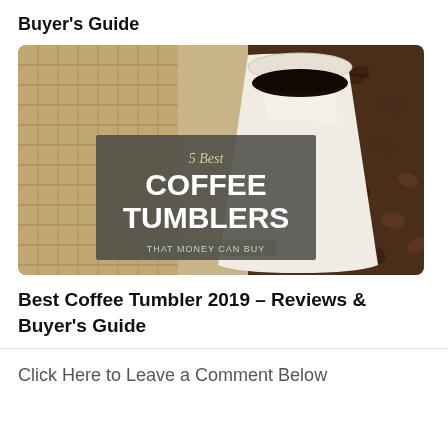Buyer's Guide
[Figure (illustration): Promotional image for '5 Best Coffee Tumblers That Money Can Buy' showing a white coffee cup filled with black coffee on a background of coffee beans and burlap, with overlaid text reading '5 Best COFFEE TUMBLERS THAT MONEY CAN BUY']
Best Coffee Tumbler 2019 – Reviews & Buyer's Guide
Click Here to Leave a Comment Below